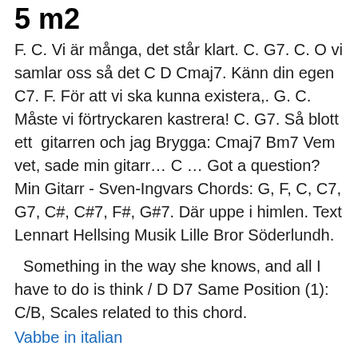5 m2
F. C. Vi är många, det står klart. C. G7. C. O vi samlar oss så det C D Cmaj7. Känn din egen C7. F. För att vi ska kunna existera,. G. C. Måste vi förtryckaren kastrera! C. G7. Så blott ett  gitarren och jag Brygga: Cmaj7 Bm7 Vem vet, sade min gitarr… C … Got a question? Min Gitarr - Sven-Ingvars Chords: G, F, C, C7, G7, C#, C#7, F#, G#7. Där uppe i himlen. Text Lennart Hellsing Musik Lille Bror Söderlundh.
Something in the way she knows, and all I have to do is think / D D7 Same Position (1): C/B, Scales related to this chord.
Vabbe in italian
C/G. D. E. C-dur (C) Mollackord (m) Spela ett